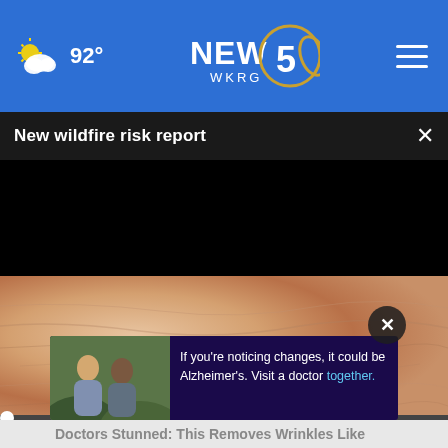92° NEWS 5 WKRG
New wildfire risk report
[Figure (screenshot): Black video player with progress bar at start (00:00), play button, mute button, time display 00:00, captions and fullscreen controls]
[Figure (photo): Close-up of skin texture, pinkish/peach tones]
[Figure (infographic): Advertisement overlay: two people (doctor and patient) with text 'If you're noticing changes, it could be Alzheimer's. Visit a doctor together.']
Doctors Stunned: This Removes Wrinkles Like